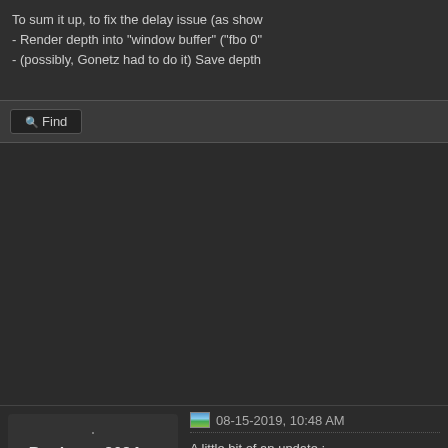To sum it up, to fix the delay issue (as show
- Render depth into "window buffer" ("fbo 0"
- (possibly, Gonetz had to do it) Save depth
Find
Boulotaur2024
Newbie
Posts: 7
Threads: 1
Joined: Feb 2009
Reputation: 2
08-15-2019, 10:48 AM
A little bit of an update :
I improved the user-friendliness of the whol
the "Handle upscaled internal resolution" ch
Also I added "Stretch mode" selection to fix
http://reshade.me/forum/general-di